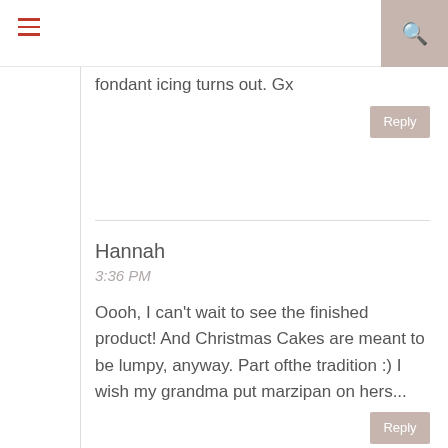fondant icing turns out. Gx
Hannah
3:36 PM
Oooh, I can't wait to see the finished product! And Christmas Cakes are meant to be lumpy, anyway. Part ofthe tradition :) I wish my grandma put marzipan on hers...